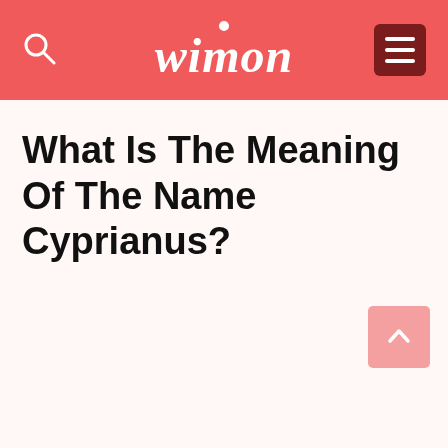wimon
What Is The Meaning Of The Name Cyprianus?